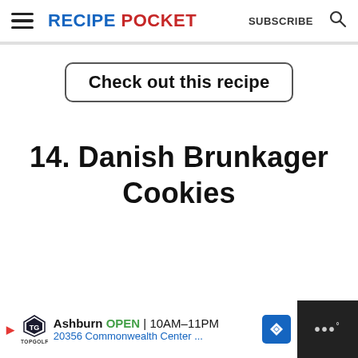RECIPE POCKET  SUBSCRIBE
Check out this recipe
14. Danish Brunkager Cookies
[Figure (screenshot): Advertisement bar at the bottom: Topgolf Ashburn OPEN 10AM-11PM 20356 Commonwealth Center ...]